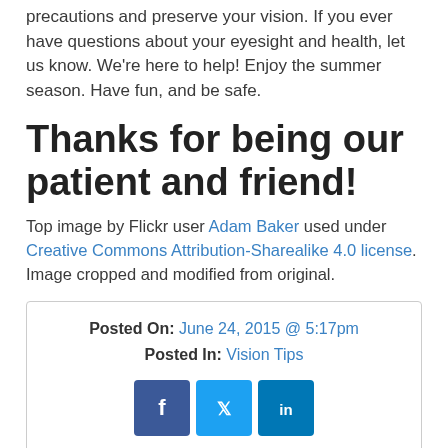precautions and preserve your vision. If you ever have questions about your eyesight and health, let us know. We're here to help! Enjoy the summer season. Have fun, and be safe.
Thanks for being our patient and friend!
Top image by Flickr user Adam Baker used under Creative Commons Attribution-Sharealike 4.0 license. Image cropped and modified from original.
Posted On: June 24, 2015 @ 5:17pm
Posted In: Vision Tips